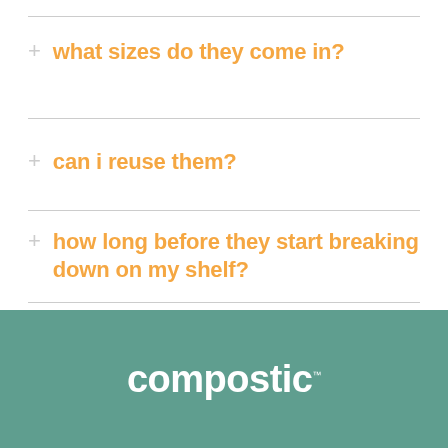+ what sizes do they come in?
+ can i reuse them?
+ how long before they start breaking down on my shelf?
compostic™